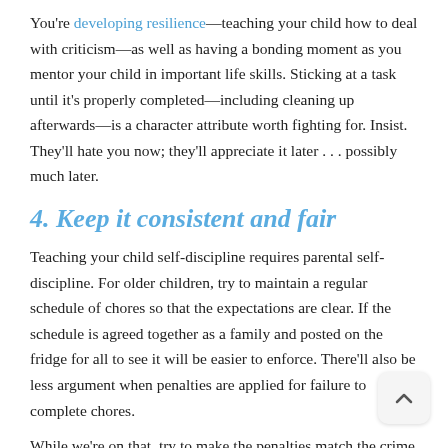You're developing resilience—teaching your child how to deal with criticism—as well as having a bonding moment as you mentor your child in important life skills. Sticking at a task until it's properly completed—including cleaning up afterwards—is a character attribute worth fighting for. Insist. They'll hate you now; they'll appreciate it later . . . possibly much later.
4. Keep it consistent and fair
Teaching your child self-discipline requires parental self-discipline. For older children, try to maintain a regular schedule of chores so that the expectations are clear. If the schedule is agreed together as a family and posted on the fridge for all to see it will be easier to enforce. There'll also be less argument when penalties are applied for failure to complete chores.
While we're on that, try to make the penalties match the crime—"No dinner for you until the dog has had his dinner."